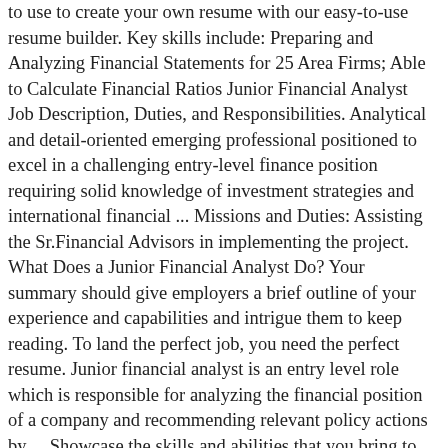to use to create your own resume with our easy-to-use resume builder. Key skills include: Preparing and Analyzing Financial Statements for 25 Area Firms; Able to Calculate Financial Ratios Junior Financial Analyst Job Description, Duties, and Responsibilities. Analytical and detail-oriented emerging professional positioned to excel in a challenging entry-level finance position requiring solid knowledge of investment strategies and international financial ... Missions and Duties: Assisting the Sr.Financial Advisors in implementing the project. What Does a Junior Financial Analyst Do? Your summary should give employers a brief outline of your experience and capabilities and intrigue them to keep reading. To land the perfect job, you need the perfect resume. Junior financial analyst is an entry level role which is responsible for analyzing the financial position of a company and recommending relevant policy actions by ... Showcase the skills and abilities that you bring to the job, focussing on those which distinguish you from the competition. © 2020, Bold Limited. Display your work experience in reverse-chronological order, beginning with your most recent position at the top of the section. Working on the development of the financial management system. Financial Planner Resume Samples and examples of curated bullet points for your resume to help you get an